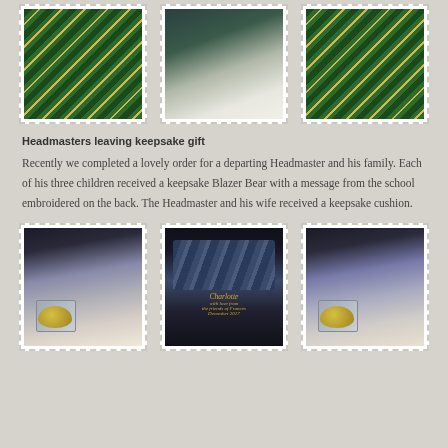[Figure (photo): Three photos in a row showing school keepsake items: green striped blazer/ties and school merchandise arranged on woven mat background]
Headmasters leaving keepsake gift
Recently we completed a lovely order for a departing Headmaster and his family. Each of his three children received a keepsake Blazer Bear with a message from the school embroidered on the back. The Headmaster and his wife received a keepsake cushion.
[Figure (photo): Three photos in a row showing keepsake bears, cushions, and embroidered items with plaid fabric and school crest. Center photo shows text 'Charlotte' embroidered in gold on dark fabric.]